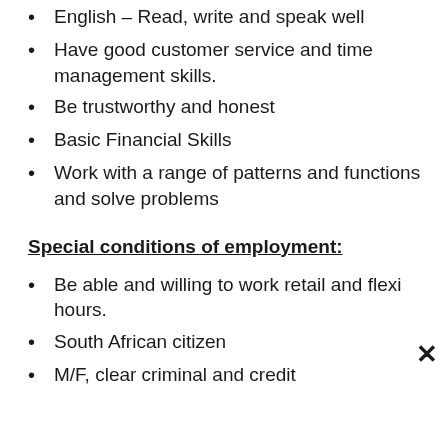English – Read, write and speak well
Have good customer service and time management skills.
Be trustworthy and honest
Basic Financial Skills
Work with a range of patterns and functions and solve problems
Special conditions of employment:
Be able and willing to work retail and flexi hours.
South African citizen
M/F, clear criminal and credit